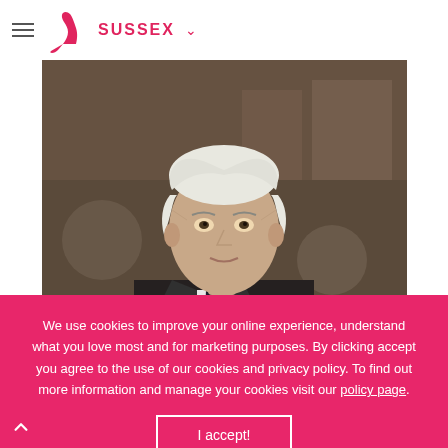SUSSEX
[Figure (photo): Portrait photograph of an older man with white hair wearing a dark suit jacket, white shirt and dark patterned tie, looking directly at camera with a serious expression. Background is blurred interior setting.]
We use cookies to improve your online experience, understand what you love most and for marketing purposes. By clicking accept you agree to the use of our cookies and privacy policy. To find out more information and manage your cookies visit our policy page.
I accept!
autopsy scenes... pretty graphic, so you might want to watch those bits through your fingers if you don't want to lose your